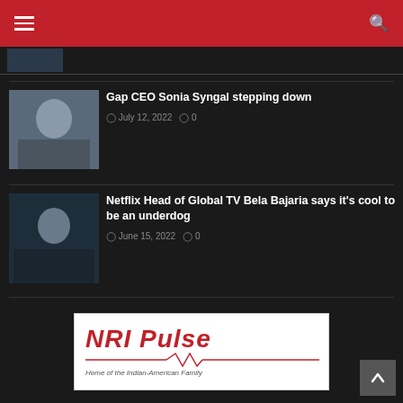NRI Pulse - navigation header bar
Gap CEO Sonia Syngal stepping down
July 12, 2022  0
Netflix Head of Global TV Bela Bajaria says it's cool to be an underdog
June 15, 2022  0
[Figure (logo): NRI Pulse logo - Home of the Indian-American Family]